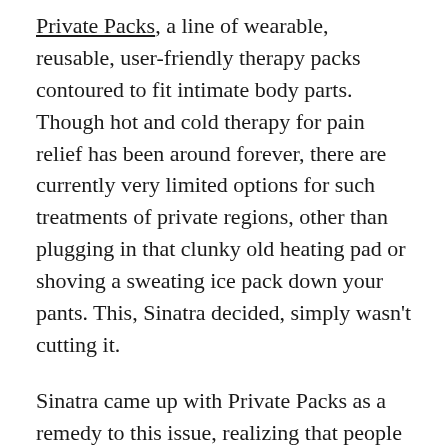Private Packs, a line of wearable, reusable, user-friendly therapy packs contoured to fit intimate body parts. Though hot and cold therapy for pain relief has been around forever, there are currently very limited options for such treatments of private regions, other than plugging in that clunky old heating pad or shoving a sweating ice pack down your pants. This, Sinatra decided, simply wasn't cutting it.
Sinatra came up with Private Packs as a remedy to this issue, realizing that people deserved a wearable, discreet, and comfortable solution that allows them to live their lives freely—with no strings (or electric cords) attached. (Her brand's first product? Designed to instantly relieve vulvar pain and discomfort.) Recently fully funded on